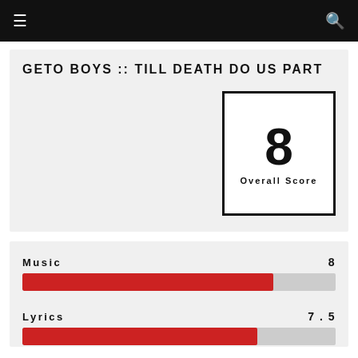☰  🔍
GETO BOYS :: TILL DEATH DO US PART
[Figure (infographic): Overall Score box showing the number 8 with label 'Overall Score']
[Figure (bar-chart): Music and Lyrics scores]